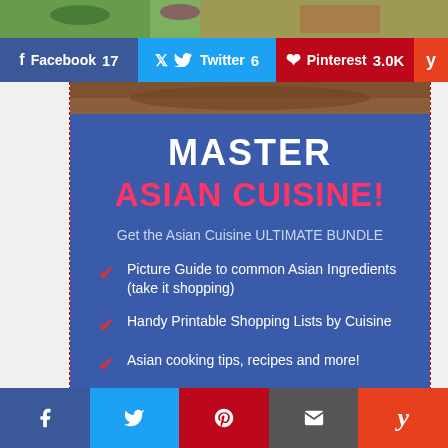[Figure (photo): Top strip showing vegetables/Asian ingredients]
f Facebook 17
Twitter 6
Pinterest 3.0K
[Figure (photo): Partial photo of Asian ingredients in basket]
MASTER
ASIAN CUISINE!
Get the Asian Cuisine ULTIMATE BUNDLE
Picture Guide to common Asian Ingredients (take it shopping)
Handy Printable Shopping Lists by Cuisine
Asian cooking tips, recipes and more!
Facebook  Twitter  Pinterest  Email  Yummly social share buttons